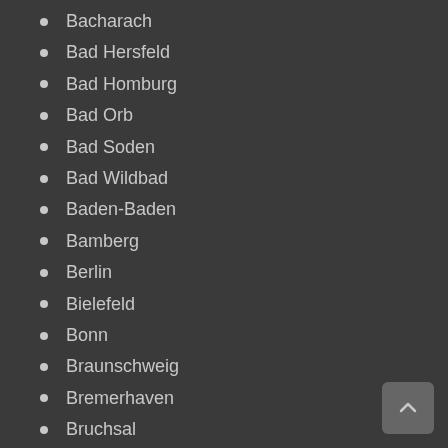Bacharach
Bad Hersfeld
Bad Homburg
Bad Orb
Bad Soden
Bad Wildbad
Baden-Baden
Bamberg
Berlin
Bielefeld
Bonn
Braunschweig
Bremerhaven
Bruchsal
Chemnitz
Coburg
Cologne (= Köln)
Darmstadt
Dessau
Detmold